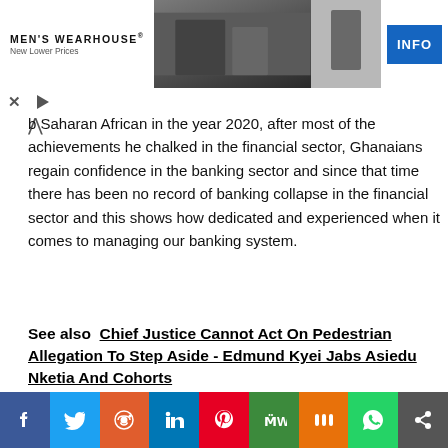[Figure (screenshot): Men's Wearhouse advertisement banner showing a couple in formal wear and a man in a suit, with INFO button]
b Saharan African in the year 2020, after most of the achievements he chalked in the financial sector, Ghanaians regain confidence in the banking sector and since that time there has been no record of banking collapse in the financial sector and this shows how dedicated and experienced when it comes to managing our banking system.
See also  Chief Justice Cannot Act On Pedestrian Allegation To Step Aside - Edmund Kyei Jabs Asiedu Nketia And Cohorts
[Figure (infographic): Social media share bar with Facebook, Twitter, Reddit, LinkedIn, Pinterest, MeWe, Mix, WhatsApp, and share icons]